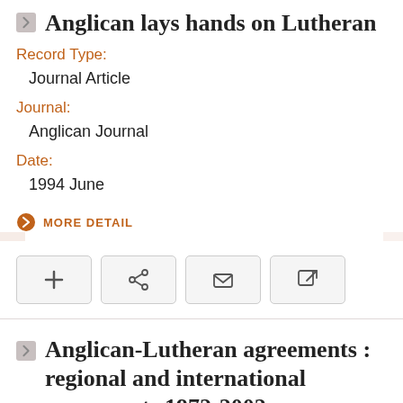Anglican lays hands on Lutheran
Record Type:
Journal Article
Journal:
Anglican Journal
Date:
1994 June
MORE DETAIL
Anglican-Lutheran agreements : regional and international agreements 1972-2002